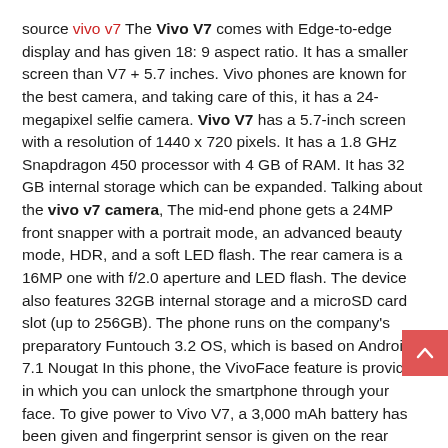source vivo v7 The Vivo V7 comes with Edge-to-edge display and has given 18: 9 aspect ratio. It has a smaller screen than V7 + 5.7 inches. Vivo phones are known for the best camera, and taking care of this, it has a 24-megapixel selfie camera. Vivo V7 has a 5.7-inch screen with a resolution of 1440 x 720 pixels. It has a 1.8 GHz Snapdragon 450 processor with 4 GB of RAM. It has 32 GB internal storage which can be expanded. Talking about the vivo v7 camera, The mid-end phone gets a 24MP front snapper with a portrait mode, an advanced beauty mode, HDR, and a soft LED flash. The rear camera is a 16MP one with f/2.0 aperture and LED flash. The device also features 32GB internal storage and a microSD card slot (up to 256GB). The phone runs on the company's preparatory Funtouch 3.2 OS, which is based on Android 7.1 Nougat In this phone, the VivoFace feature is provided in which you can unlock the smartphone through your face. To give power to Vivo V7, a 3,000 mAh battery has been given and fingerprint sensor is given on the rear body of the smartphone.]]>